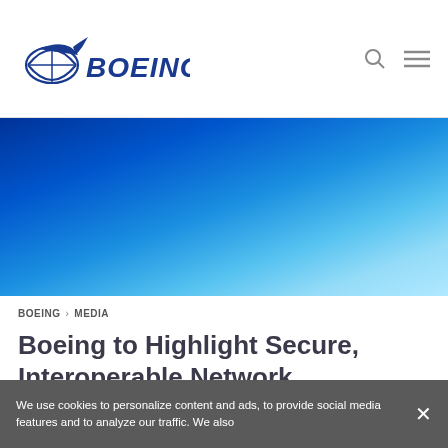BOEING [logo] [search icon] [menu icon]
[Figure (photo): Blue gradient hero banner image transitioning from dark navy blue on the left to light sky blue on the right]
BOEING > MEDIA
Boeing to Highlight Secure, Interoperable Network Communications Systems at MILCOM 2009
We use cookies to personalize content and ads, to provide social media features and to analyze our traffic. We also